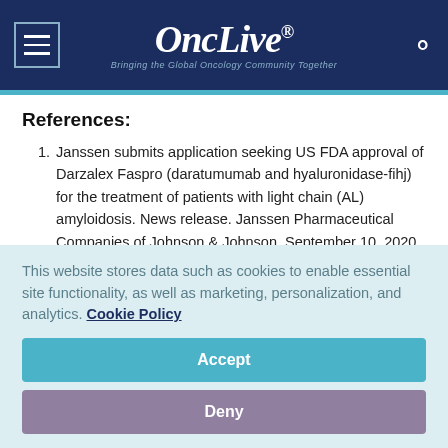OncLive® — Bringing the Global Oncology Community Together
References:
1. Janssen submits application seeking US FDA approval of Darzalex Faspro (daratumumab and hyaluronidase-fihj) for the treatment of patients with light chain (AL) amyloidosis. News release. Janssen Pharmaceutical Companies of Johnson & Johnson. September 10, 2020. Accessed September 10, 2020.
This website stores data such as cookies to enable essential site functionality, as well as marketing, personalization, and analytics. Cookie Policy
Accept
Deny